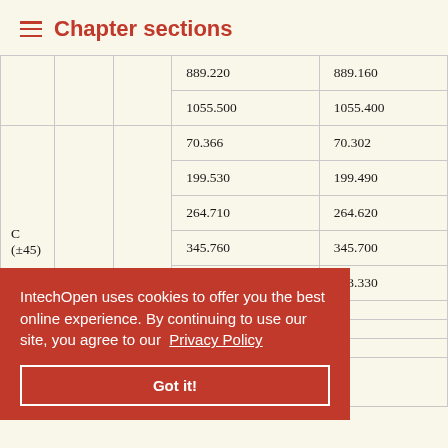Chapter sections
|  |  | 889.220 | 889.160 |
|  |  | 1055.500 | 1055.400 |
| C (±45) |  | 70.366 | 70.302 |
| C (±45) |  | 199.530 | 199.490 |
| C (±45) |  | 264.710 | 264.620 |
| C (±45) |  | 345.760 | 345.700 |
| C (±45) |  | 443.360 | 443.330 |
| C (±45) |  | …70 |  |
| C (±45) |  | …0 |  |
| C (±45) |  | …00 |  |
| C (±45) |  | …00 |  |
| C (0/90) |  |  |  |
IntechOpen uses cookies to offer you the best online experience. By continuing to use our site, you agree to our Privacy Policy
Got it!